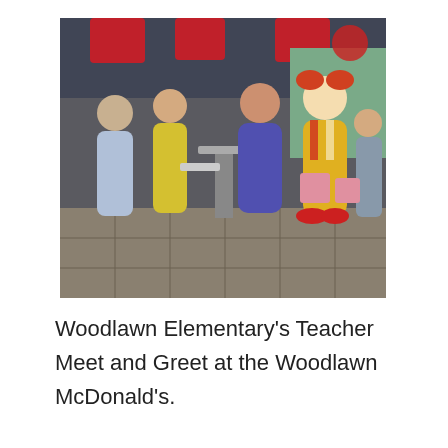[Figure (photo): Indoor photo at a McDonald's restaurant showing a woman in a purple shirt posing and laughing with Ronald McDonald (the clown mascot in yellow and red costume). To the left, two women stand near a table, one in yellow carrying a tray. In the background, other people are visible near pink chairs and tables. Red pendant lights hang from the ceiling.]
Woodlawn Elementary's Teacher Meet and Greet at the Woodlawn McDonald's.